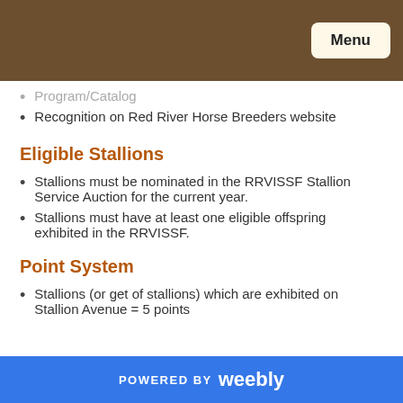Menu
Program/Catalog
Recognition on Red River Horse Breeders website
Eligible Stallions
Stallions must be nominated in the RRVISSF Stallion Service Auction for the current year.
Stallions must have at least one eligible offspring exhibited in the RRVISSF.
Point System
Stallions (or get of stallions) which are exhibited on Stallion Avenue = 5 points
POWERED BY weebly